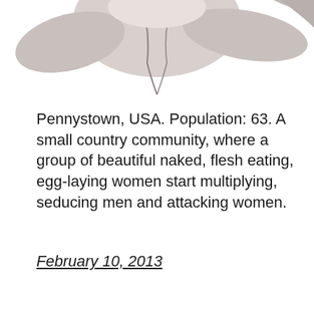[Figure (illustration): Partial view of an illustrated character — light-colored, stylized figure cropped at top of page]
Pennystown, USA. Population: 63. A small country community, where a group of beautiful naked, flesh eating, egg-laying women start multiplying, seducing men and attacking women.
February 10, 2013